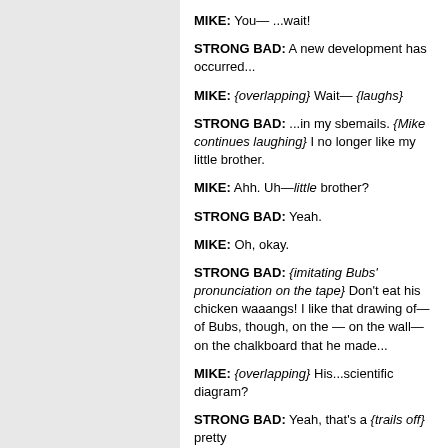MIKE: You— ...wait!
STRONG BAD: A new development has occurred...
MIKE: {overlapping} Wait— {laughs}
STRONG BAD: ...in my sbemails. {Mike continues laughing} I no longer like my little brother.
MIKE: Ahh. Uh—little brother?
STRONG BAD: Yeah.
MIKE: Oh, okay.
STRONG BAD: {imitating Bubs' pronunciation on the tape} Don't eat his chicken waaangs! I like that drawing of—of Bubs, though, on the — on the wall— on the chalkboard that he made...
MIKE: {overlapping} His...scientific diagram?
STRONG BAD: Yeah, that's a {trails off} pretty